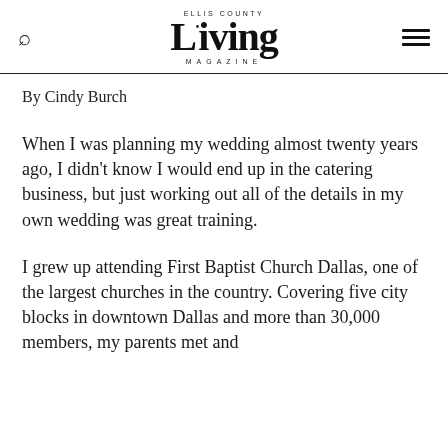ELLIS COUNTY Living MAGAZINE
By Cindy Burch
When I was planning my wedding almost twenty years ago, I didn't know I would end up in the catering business, but just working out all of the details in my own wedding was great training.
I grew up attending First Baptist Church Dallas, one of the largest churches in the country. Covering five city blocks in downtown Dallas and more than 30,000 members, my parents met and